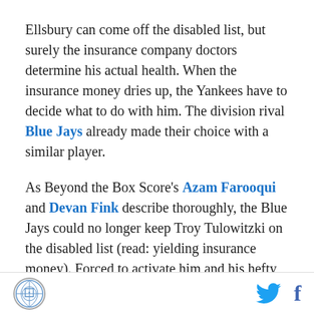Ellsbury can come off the disabled list, but surely the insurance company doctors determine his actual health. When the insurance money dries up, the Yankees have to decide what to do with him. The division rival Blue Jays already made their choice with a similar player.
As Beyond the Box Score's Azam Farooqui and Devan Fink describe thoroughly, the Blue Jays could no longer keep Troy Tulowitzki on the disabled list (read: yielding insurance money). Forced to activate him and his hefty salary in the spring, they opted instead to release him outright. They'll still pay the remaining $38 million on his guaranteed contract, but
[logo] [twitter] [facebook]